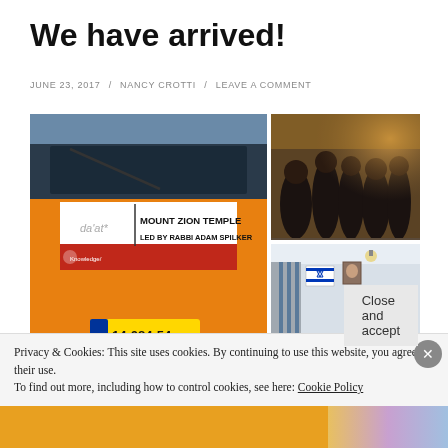We have arrived!
JUNE 23, 2017 / NANCY CROTTI / LEAVE A COMMENT
[Figure (photo): Three photos: left shows a bus/van with a sign reading 'da'at* | MOUNT ZION TEMPLE | LED BY RABBI ADAM SPILKER' and the license plate '14-084-54'; top right shows a group of people gathered indoors; bottom right shows an interior room with Israeli flag, chairs, and a portrait on the wall.]
Privacy & Cookies: This site uses cookies. By continuing to use this website, you agree to their use.
To find out more, including how to control cookies, see here: Cookie Policy
Close and accept